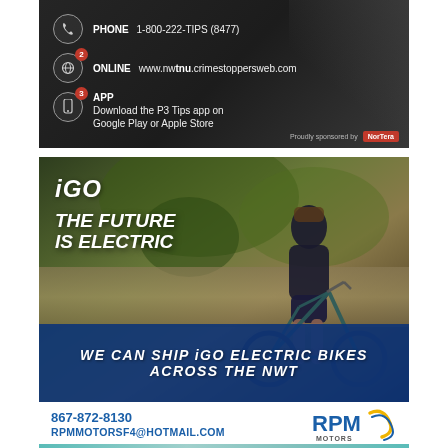[Figure (infographic): Crime Stoppers ad with dark background showing phone, online, and app contact methods. PHONE 1-800-222-TIPS (8477), ONLINE www.nwtnu.crimestoppersweb.com, APP Download the P3 Tips app on Google Play or Apple Store. Proudly sponsored by NorTerra.]
[Figure (photo): iGO electric bike advertisement. Shows a person on a teal/dark electric road bike outdoors. Text overlay: iGO THE FUTURE IS ELECTRIC. Bottom banner: WE CAN SHIP iGO ELECTRIC BIKES ACROSS THE NWT]
867-872-8130
RPMMOTORSF4@HOTMAIL.COM
[Figure (logo): RPM Motors logo — blue RPM text with yellow/blue swoosh graphic and MOTORS text below]